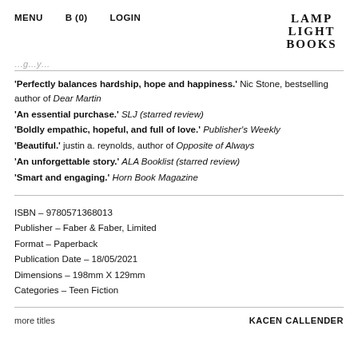MENU   B (0)   LOGIN   LAMP LIGHT BOOKS
'Perfectly balances hardship, hope and happiness.' Nic Stone, bestselling author of Dear Martin
'An essential purchase.' SLJ (starred review)
'Boldly empathic, hopeful, and full of love.' Publisher's Weekly
'Beautiful.' justin a. reynolds, author of Opposite of Always
'An unforgettable story.' ALA Booklist (starred review)
'Smart and engaging.' Horn Book Magazine
ISBN – 9780571368013
Publisher – Faber & Faber, Limited
Format – Paperback
Publication Date – 18/05/2021
Dimensions – 198mm X 129mm
Categories – Teen Fiction
more titles   KACEN CALLENDER